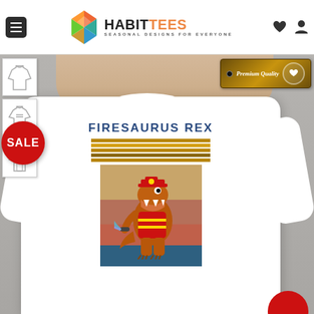HabitTees — Seasonal Designs for Everyone
[Figure (screenshot): E-commerce product page for a 'Firesaurus Rex' t-shirt on HabitTees. Shows a man wearing a white t-shirt with a cartoon firefighter T-Rex dinosaur graphic and text 'FIRESAURUS REX'. A red SALE badge is visible, along with a Premium Quality badge. Left sidebar shows three clothing-style thumbnails.]